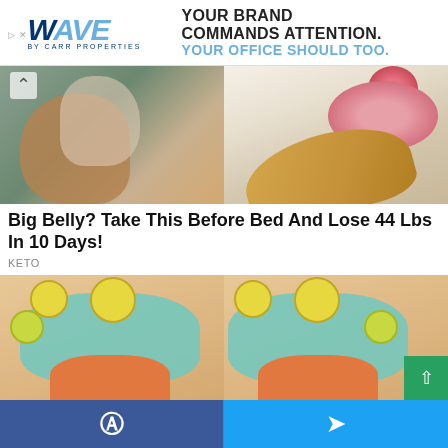[Figure (illustration): Wave by Carr Properties advertisement banner with logo and text YOUR BRAND COMMANDS ATTENTION. YOUR OFFICE SHOULD TOO.]
[Figure (photo): Two photos side by side: left shows a person pinching belly/side fat, right shows pink himalayan salt or granules in a wooden spoon with raspberries]
Big Belly? Take This Before Bed And Lose 44 Lbs In 10 Days!
KETO
[Figure (illustration): Cartoon illustration of two torsos in teal swimwear showing before/after comparison with fruit imagery]
[Figure (logo): Green scroll-to-top button]
[Figure (infographic): Social sharing bar with Facebook and Twitter icons in blue]